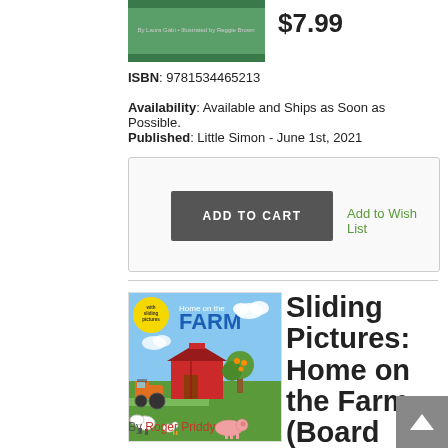[Figure (photo): Book cover thumbnail (top portion visible) with green background]
$7.99
ISBN: 9781534465213
Availability: Available and Ships as Soon as Possible.
Published: Little Simon - June 1st, 2021
[Figure (screenshot): Add to cart box with ADD TO CART button and Add to Wish List link]
[Figure (photo): Book cover for Sliding Pictures: Home on the Farm (Board book) - colorful farm scene with barn, tractor, animals]
Sliding Pictures: Home on the Farm (Board book)
By Roger Priddy